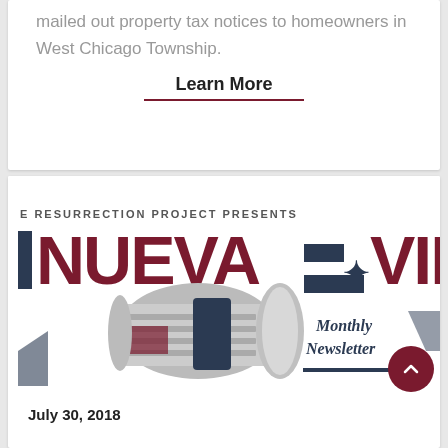mailed out property tax notices to homeowners in West Chicago Township.
Learn More
[Figure (illustration): Nueva Vida Monthly Newsletter banner with rolled newspaper graphic. Text reads 'E RESURRECTION PROJECT PRESENTS NUEVA * VIDA Monthly Newsletter']
July 30, 2018